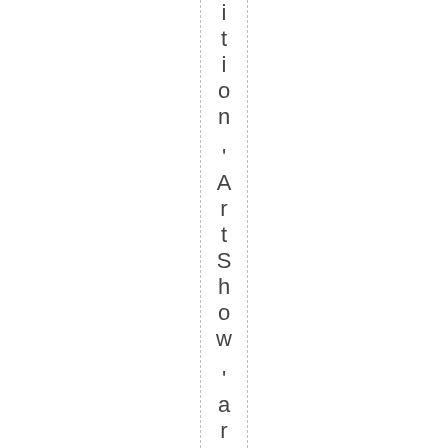tion 'ArtShow' art workshop op